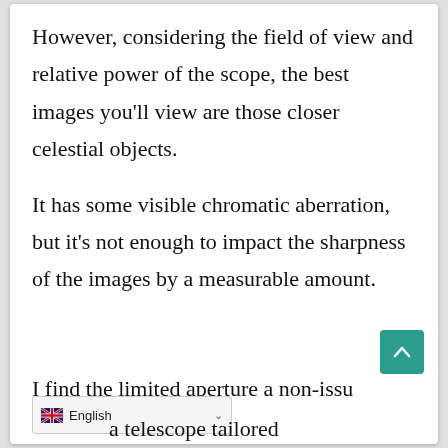However, considering the field of view and relative power of the scope, the best images you'll view are those closer celestial objects.
It has some visible chromatic aberration, but it's not enough to impact the sharpness of the images by a measurable amount.
I find the limited aperture a non-issu...